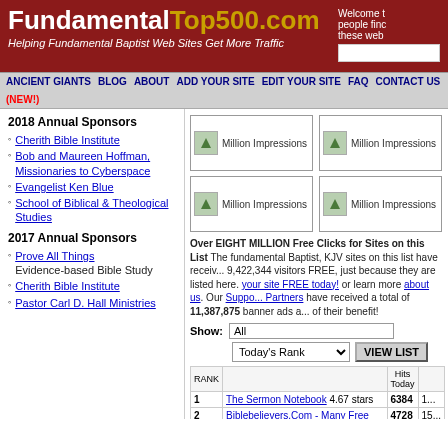FundamentalTop500.com — Helping Fundamental Baptist Web Sites Get More Traffic
Welcome to... people find... these web...
ANCIENT GIANTS  BLOG  ABOUT  ADD YOUR SITE  EDIT YOUR SITE  FAQ  CONTACT US  (NEW!)
2018 Annual Sponsors
Cherith Bible Institute
Bob and Maureen Hoffman, Missionaries to Cyberspace
Evangelist Ken Blue
School of Biblical & Theological Studies
2017 Annual Sponsors
Prove All Things — Evidence-based Bible Study
Cherith Bible Institute
Pastor Carl D. Hall Ministries
[Figure (other): Four Million Impressions ad banners in 2x2 grid]
Over EIGHT MILLION Free Clicks for Sites on this List! The fundamental Baptist, KJV sites on this list have received 9,422,344 visitors FREE, just because they are listed here. Add your site FREE today! or learn more about us. Our Supporting Partners have received a total of 11,387,875 banner ads as a bonus for their benefit!
| RANK |  | Hits Today |  |
| --- | --- | --- | --- |
| 1 | The Sermon Notebook 4.67 stars | 6384 | 1... |
| 2 | Biblebelievers.Com - Many Free Resources - Written & Audio - Church Directory and... | 4728 | 15... |